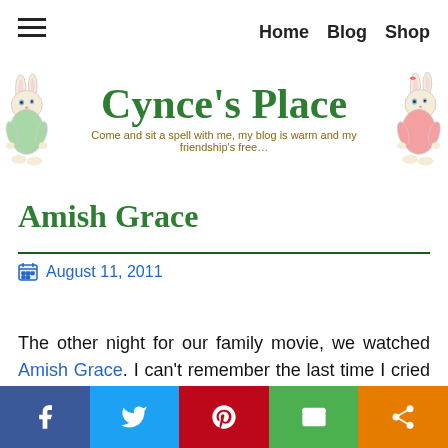≡  Home  Blog  Shop
[Figure (logo): Cynce's Place blog header with two illustrated bunny characters flanking the site title and tagline]
Amish Grace
August 11, 2011
The other night for our family movie, we watched Amish Grace. I can't remember the last time I cried so hard.
[Figure (infographic): Social share bar with Facebook, Twitter, Pinterest, Email, and Share buttons]